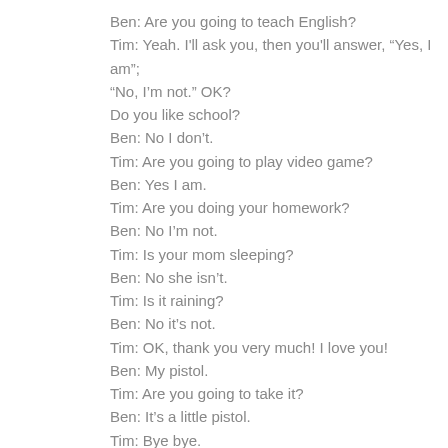Ben: Are you going to teach English?
Tim: Yeah. I'll ask you, then you'll answer, “Yes, I am”; “No, I’m not.” OK?
Do you like school?
Ben: No I don’t.
Tim: Are you going to play video game?
Ben: Yes I am.
Tim: Are you doing your homework?
Ben: No I’m not.
Tim: Is your mom sleeping?
Ben: No she isn’t.
Tim: Is it raining?
Ben: No it’s not.
Tim: OK, thank you very much! I love you!
Ben: My pistol.
Tim: Are you going to take it?
Ben: It’s a little pistol.
Tim: Bye bye.
Ben: Bye.